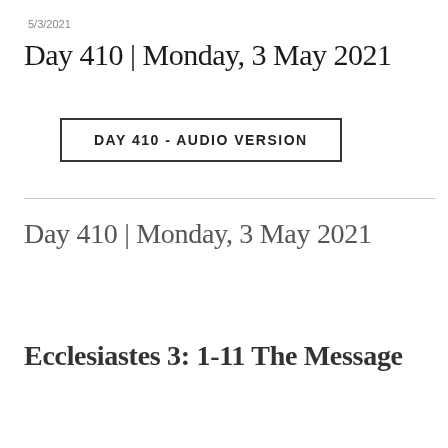5/3/2021
Day 410 | Monday, 3 May 2021
DAY 410 - AUDIO VERSION
Day 410 | Monday, 3 May 2021
Ecclesiastes 3: 1-11 The Message